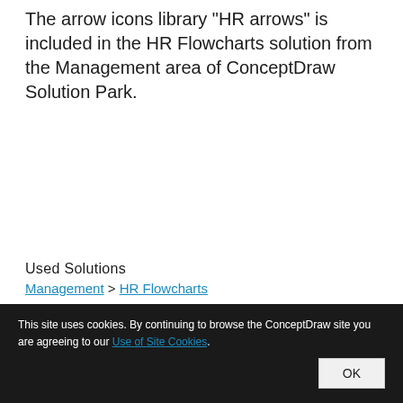The arrow icons library "HR arrows" is included in the HR Flowcharts solution from the Management area of ConceptDraw Solution Park.
Used Solutions
Management > HR Flowcharts
This site uses cookies. By continuing to browse the ConceptDraw site you are agreeing to our Use of Site Cookies. OK